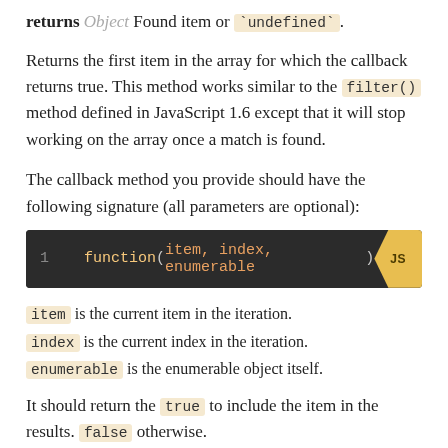returns Object Found item or `undefined`.
Returns the first item in the array for which the callback returns true. This method works similar to the filter() method defined in JavaScript 1.6 except that it will stop working on the array once a match is found.
The callback method you provide should have the following signature (all parameters are optional):
[Figure (screenshot): Code block showing: 1  function(item, index, enumerable) with JS language tag]
item is the current item in the iteration.
index is the current index in the iteration.
enumerable is the enumerable object itself.
It should return the true to include the item in the results. false otherwise.